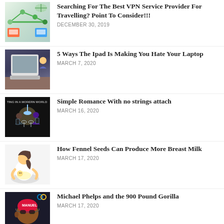[Figure (illustration): Technology blog post thumbnail with green network/travel icons]
Searching For The Best VPN Service Provider For Travelling? Point To Consider!!!
DECEMBER 30, 2019
[Figure (photo): iPad with keyboard on a table]
5 Ways The Ipad Is Making You Hate Your Laptop
MARCH 7, 2020
[Figure (photo): Couple on phones at dinner, dating in a modern world]
Simple Romance With no strings attach
MARCH 16, 2020
[Figure (illustration): Illustration of a woman breastfeeding a baby]
How Fennel Seeds Can Produce More Breast Milk
MARCH 17, 2020
[Figure (photo): Michael Phelps swimmer with goggles and swim cap]
Michael Phelps and the 900 Pound Gorilla
MARCH 17, 2020